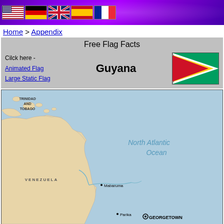[Figure (illustration): Purple radial burst banner with national flag icons for USA, Germany, UK, Spain, France]
Home > Appendix
Free Flag Facts
Cilck here -
Animated Flag
Large Static Flag
Guyana
[Figure (illustration): Flag of Guyana: green background with white border arrow, yellow arrow, black border triangle, red triangle]
[Figure (map): Map showing Guyana and surrounding region including Trinidad and Tobago, Venezuela, North Atlantic Ocean, with cities Mabaruma, Parika, Georgetown marked]